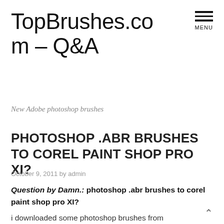TopBrushes.com – Q&A
New Adobe photoshop brushes
PHOTOSHOP .ABR BRUSHES TO COREL PAINT SHOP PRO XI?
October 9, 2011 by admin
Question by Damn.: photoshop .abr brushes to corel paint shop pro XI?
i downloaded some photoshop brushes from deviantart.com. I am not the best at this. I know how to extract files